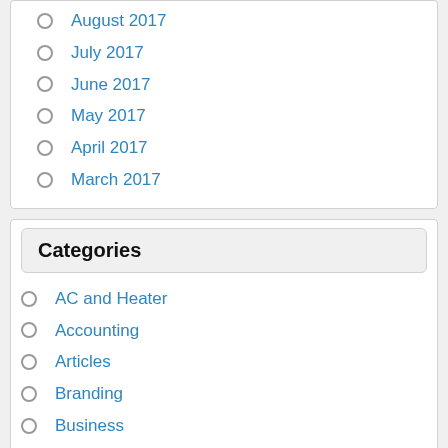August 2017
July 2017
June 2017
May 2017
April 2017
March 2017
Categories
AC and Heater
Accounting
Articles
Branding
Business
Careers Employment
Consulting
Customer Service
Entrepreneurialism
Home Tips